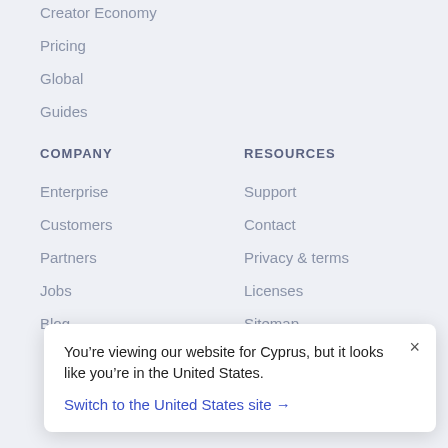Creator Economy
Pricing
Global
Guides
COMPANY
Enterprise
Customers
Partners
Jobs
Blog
RESOURCES
Support
Contact
Privacy & terms
Licenses
Sitemap
You’re viewing our website for Cyprus, but it looks like you’re in the United States.
Switch to the United States site →